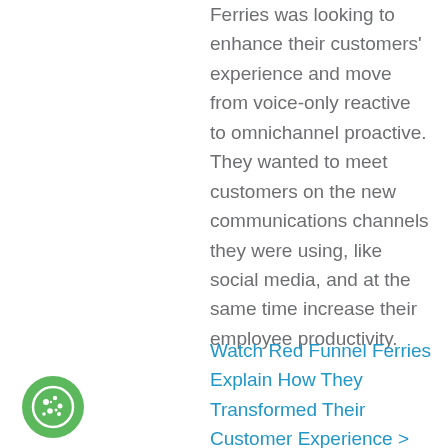Ferries was looking to enhance their customers' experience and move from voice-only reactive to omnichannel proactive. They wanted to meet customers on the new communications channels they were using, like social media, and at the same time increase their employee productivity.
Watch Red Funnel Ferries Explain How They Transformed Their Customer Experience >